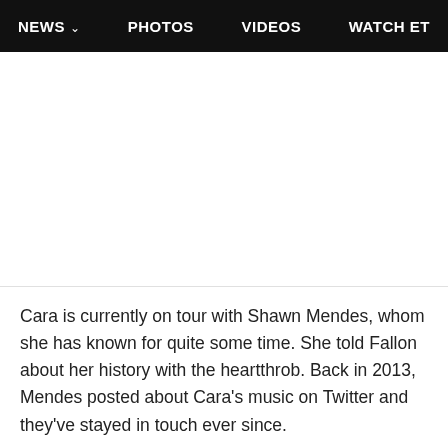NEWS  PHOTOS  VIDEOS  WATCH ET
[Figure (photo): Large image placeholder area, white/light gray background]
Cara is currently on tour with Shawn Mendes, whom she has known for quite some time. She told Fallon about her history with the heartthrob. Back in 2013, Mendes posted about Cara's music on Twitter and they've stayed in touch ever since.
"I remember when it happened too, because I wasn't